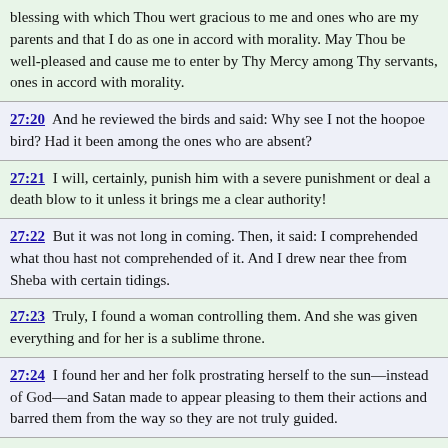blessing with which Thou wert gracious to me and ones who are my parents and that I do as one in accord with morality. May Thou be well-pleased and cause me to enter by Thy Mercy among Thy servants, ones in accord with morality.
27:20  And he reviewed the birds and said: Why see I not the hoopoe bird? Had it been among the ones who are absent?
27:21  I will, certainly, punish him with a severe punishment or deal a death blow to it unless it brings me a clear authority!
27:22  But it was not long in coming. Then, it said: I comprehended what thou hast not comprehended of it. And I drew near thee from Sheba with certain tidings.
27:23  Truly, I found a woman controlling them. And she was given everything and for her is a sublime throne.
27:24  I found her and her folk prostrating herself to the sun—instead of God—and Satan made to appear pleasing to them their actions and barred them from the way so they are not truly guided.
27:25  So they prostrate themselves not to God Who brings out that which is hidden in the heavens and the earth and knows what you conceal and what you speak openly.
27:26  God, there is no god but He, the Lord of the Sublime Throne.